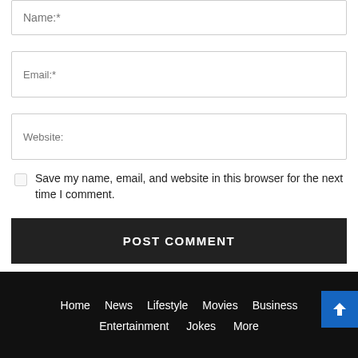Name:*
Email:*
Website:
Save my name, email, and website in this browser for the next time I comment.
POST COMMENT
Home  News  Lifestyle  Movies  Business  Entertainment  Jokes  More